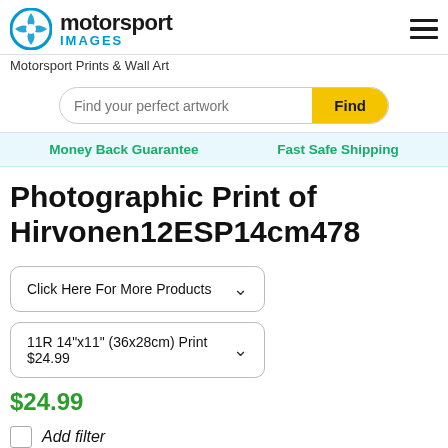[Figure (logo): Motorsport Images logo with blue shutter-style circle icon and text 'motorsport IMAGES']
Motorsport Prints & Wall Art
Find your perfect artwork
Money Back Guarantee
Fast Safe Shipping
Photographic Print of Hirvonen12ESP14cm478
Click Here For More Products
11R 14"x11" (36x28cm) Print $24.99
$24.99
Add filter